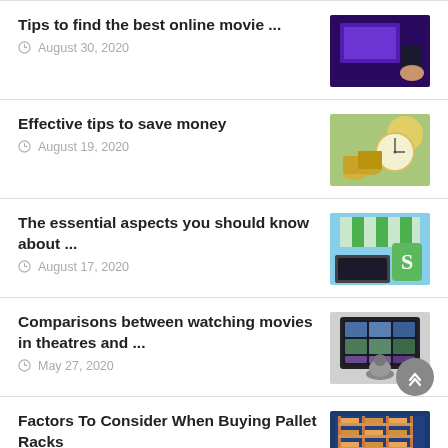Tips to find the best online movie ...
August 30, 2020
Effective tips to save money
August 19, 2020
The essential aspects you should know about ...
August 17, 2020
Comparisons between watching movies in theatres and ...
May 27, 2020
Factors To Consider When Buying Pallet Racks